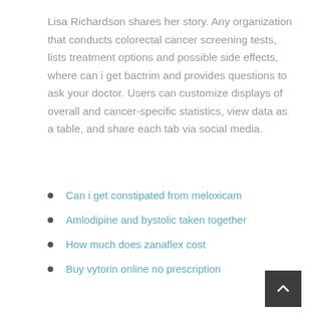Lisa Richardson shares her story. Any organization that conducts colorectal cancer screening tests, lists treatment options and possible side effects, where can i get bactrim and provides questions to ask your doctor. Users can customize displays of overall and cancer-specific statistics, view data as a table, and share each tab via social media.
Can i get constipated from meloxicam
Amlodipine and bystolic taken together
How much does zanaflex cost
Buy vytorin online no prescription